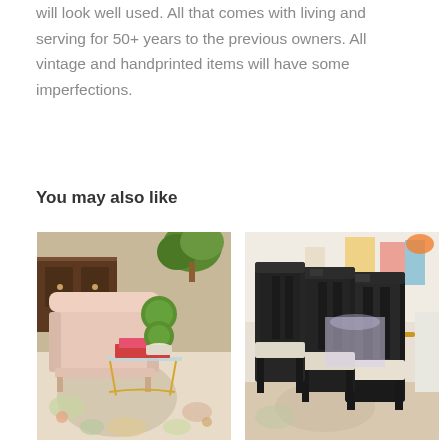will look well used. All that comes with living and serving for 50+ years to the previous owners. All vintage and handprinted items will have some imperfections.
You may also like
[Figure (photo): A pink/cream upholstered armchair with a topiary plant on a side table with a glass top, set on a floral rug in a furniture shop]
[Figure (photo): Black lacquered dining chairs with white upholstered seats arranged in a row, photographed in a furniture consignment store]